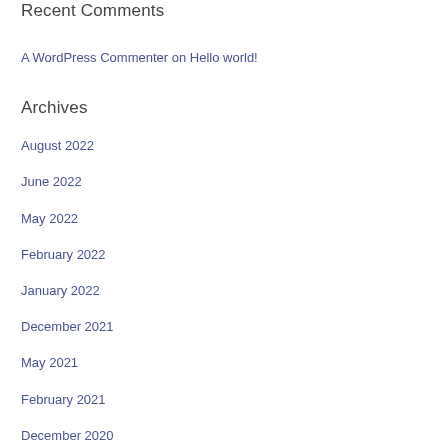Recent Comments
A WordPress Commenter on Hello world!
Archives
August 2022
June 2022
May 2022
February 2022
January 2022
December 2021
May 2021
February 2021
December 2020